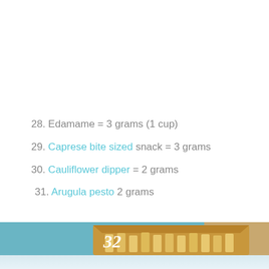28. Edamame = 3 grams (1 cup)
29. Caprese bite sized snack = 3 grams
30. Cauliflower dipper = 2 grams
31. Arugula pesto  2 grams
[Figure (photo): Photo of item 32 showing a brown paper bag filled with french fry-shaped cheese or vegetable sticks, on a teal/blue background, with the number 32 overlaid in white italic text. The bottom portion shows a light blue/white blurred reflection.]